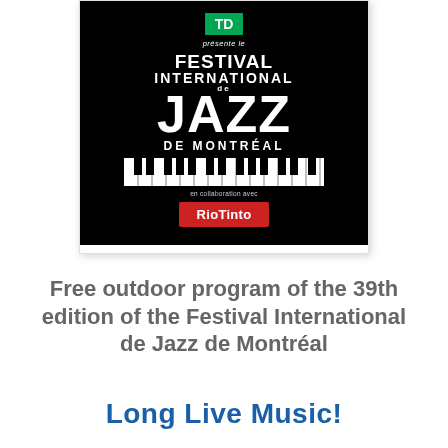[Figure (logo): Festival International de Jazz de Montréal logo on black background, presented by TD Bank, in collaboration with Rio Tinto. Features stylized text with FESTIVAL INTERNATIONAL DE JAZZ DE MONTREAL, piano keys graphic, and Rio Tinto red button.]
Free outdoor program of the 39th edition of the Festival International de Jazz de Montréal
Long Live Music!